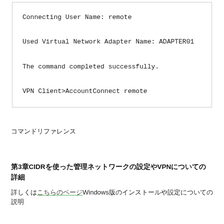Connecting User Name: remote

Used Virtual Network Adapter Name: ADAPTER01

The command completed successfully.

VPN Client>AccountConnect remote
コマンドリファレンス
第3章CIDRを使った管理ネットワークの設定やVPNについての詳細
詳しくはこちらのページWindows版のインストールや設定についての説明